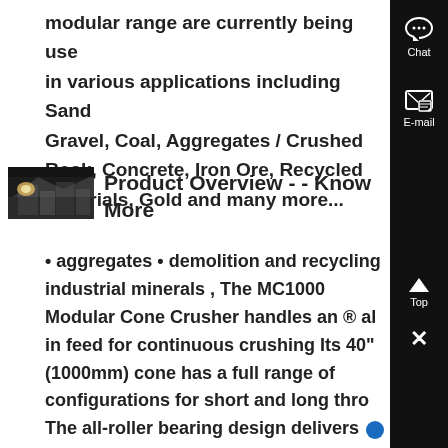modular range are currently being used in various applications including Sand Gravel, Coal, Aggregates / Crushed Rock, Concrete, Iron Ore, Recycled materials, Gold and many more...
[Figure (photo): Thumbnail photo of industrial crushing/processing equipment at night]
Product Overview - - Know More
• aggregates • demolition and recycling • industrial minerals , The MC1000 Modular Cone Crusher handles an ® all in feed for continuous crushing Its 40" (1000mm) cone has a full range of configurations for short and long throw. The all-roller bearing design delivers enhanced crushing efficiency...
[Figure (other): Sidebar with Chat, E-mail, Top, and close buttons on black background]